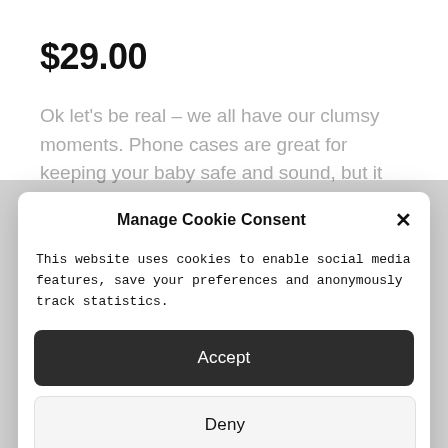$29.00
Ok let's be real – we all have our clumsy moments. Phone cases are great for keeping your baby safe and sound, but it wouldn't hurt to have it look good
Manage Cookie Consent
This website uses cookies to enable social media features, save your preferences and anonymously track statistics.
Accept
Deny
View preferences